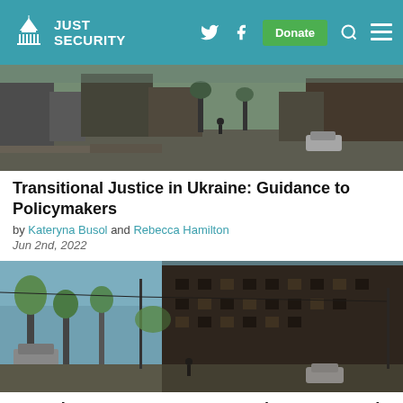Just Security — navigation header with logo, Twitter, Facebook, Donate, Search, Menu icons
[Figure (photo): Destroyed street scene in Ukraine with burned buildings and debris, wartime destruction]
Transitional Justice in Ukraine: Guidance to Policymakers
by Kateryna Busol and Rebecca Hamilton
Jun 2nd, 2022
[Figure (photo): Destroyed residential buildings in Ukraine with a lone person walking on the street, wartime devastation showing burned multi-story apartment blocks]
Перехідне правосуддя в Україні: рекомендації для поліcімейкерів